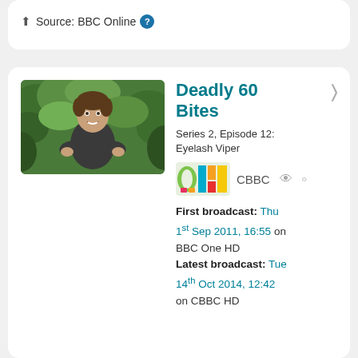Source: BBC Online ?
Deadly 60 Bites
Series 2, Episode 12: Eyelash Viper
CBBC
First broadcast: Thu 1st Sep 2011, 16:55 on BBC One HD
Latest broadcast: Tue 14th Oct 2014, 12:42 on CBBC HD